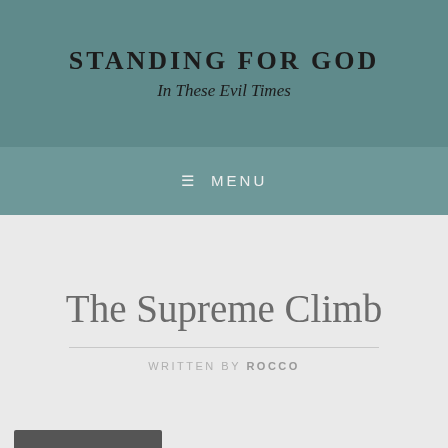STANDING FOR GOD
In These Evil Times
≡ MENU
The Supreme Climb
WRITTEN BY ROCCO
Follow ...